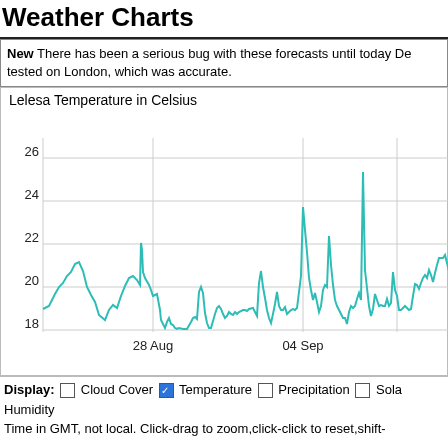Weather Charts
New There has been a serious bug with these forecasts until today De tested on London, which was accurate.
[Figure (continuous-plot): Line chart showing Lelesa temperature in Celsius over time from approximately Aug 25 to Sep 7. Y-axis ranges from 18 to 26 degrees. X-axis shows dates 28 Aug and 04 Sep. The temperature line (teal/cyan colored) fluctuates between roughly 18.5 and 26.5 degrees with multiple peaks and troughs.]
Display:  Cloud Cover  Temperature  Precipitation  Sola Humidity
Time in GMT, not local. Click-drag to zoom,click-click to reset,shift-